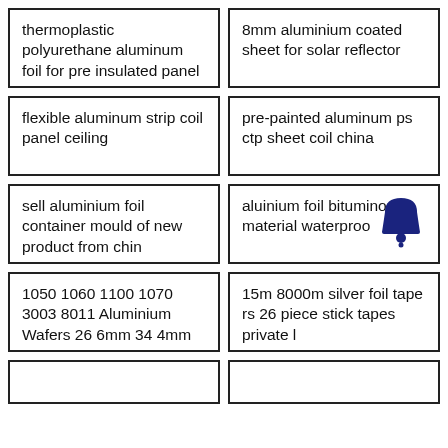thermoplastic polyurethane aluminum foil for pre insulated panel
8mm aluminium coated sheet for solar reflector
flexible aluminum strip coil panel ceiling
pre-painted aluminum ps ctp sheet coil china
sell aluminium foil container mould of new product from chin
aluinium foil bituminous material waterproo[icon]
1050 1060 1100 1070 3003 8011 Aluminium Wafers 26 6mm 34 4mm
15m 8000m silver foil tape rs 26 piece stick tapes private l
(partial row left)
(partial row right)